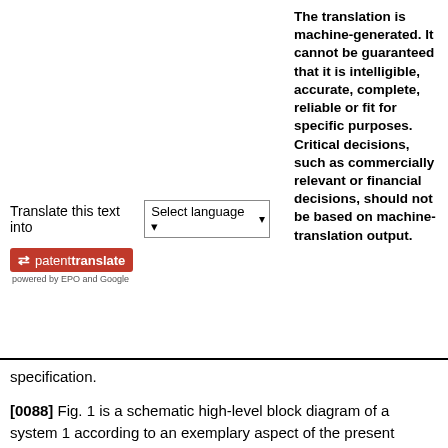The translation is machine-generated. It cannot be guaranteed that it is intelligible, accurate, complete, reliable or fit for specific purposes. Critical decisions, such as commercially relevant or financial decisions, should not be based on machine-translation output.
[Figure (screenshot): PatentTranslate widget showing 'Translate this text into [Select language]' dropdown and patenttranslate logo badge powered by EPO and Google]
specification.
[0088] Fig. 1 is a schematic high-level block diagram of a system 1 according to an exemplary aspect of the present invention. In the following, it is assumed that system 1 is a